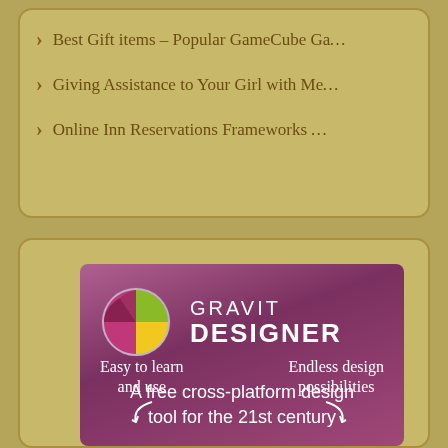> Best Gift items – Popular GameCube Ga…
> Giving Assistance to Your Girl with Me…
> Online Inn Reservations Frameworks …
[Figure (logo): Gravit Designer advertisement banner with logo (multicolor sphere), brand name GRAVIT DESIGNER, tagline 'A free cross-platform design tool for the 21st century', and features 'Easy to learn and use' and 'Endless design possibilities']